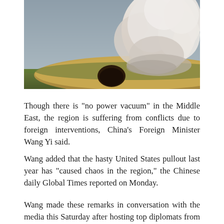[Figure (photo): A large explosion with a billowing white smoke cloud rising from a bunker or tunnel entrance embedded in a grassy mound. The background shows a gray sky.]
Though there is “no power vacuum” in the Middle East, the region is suffering from conflicts due to foreign interventions, China’s Foreign Minister Wang Yi said.
Wang added that the hasty United States pullout last year has “caused chaos in the region,” the Chinese daily Global Times reported on Monday.
Wang made these remarks in conversation with the media this Saturday after hosting top diplomats from Saudi Arabia,